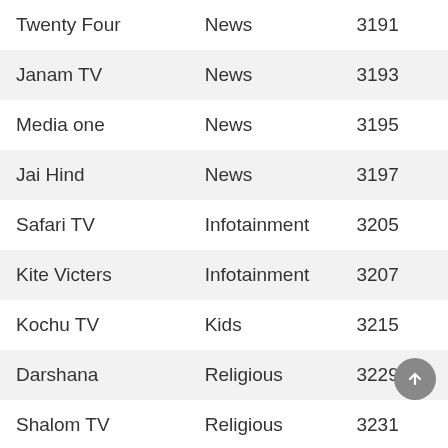| Channel | Category | Number |
| --- | --- | --- |
| Twenty Four | News | 3191 |
| Janam TV | News | 3193 |
| Media one | News | 3195 |
| Jai Hind | News | 3197 |
| Safari TV | Infotainment | 3205 |
| Kite Victers | Infotainment | 3207 |
| Kochu TV | Kids | 3215 |
| Darshana | Religious | 3229 |
| Shalom TV | Religious | 3231 |